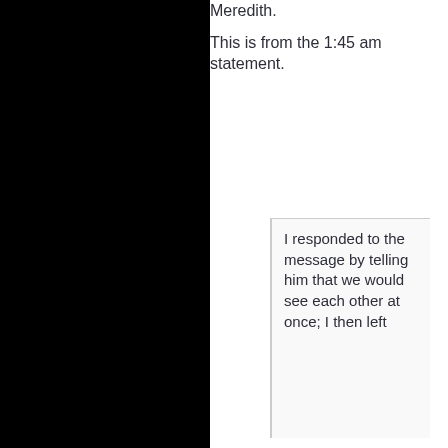Meredith.
This is from the 1:45 am statement.
I responded to the message by telling him that we would see each other at once; I then left